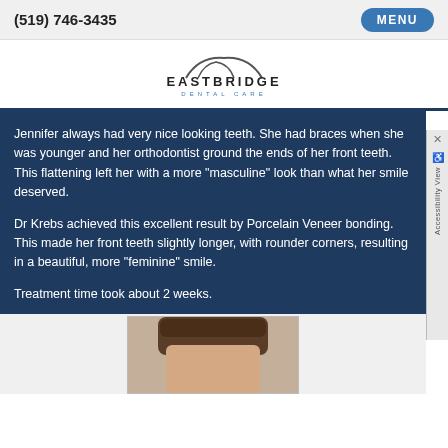(519) 746-3435  MENU
[Figure (logo): Eastbridge Dental Care logo with arch/bridge graphic above text EASTBRIDGE DENTAL CARE]
Jennifer always had very nice looking teeth. She had braces when she was younger and her orthodontist ground the ends of her front teeth. This flattening left her with a more “masculine” look than what her smile deserved.
Dr Krebs achieved this excellent result by Porcelain Veneer bonding. This made her front teeth slightly longer, with rounder corners, resulting in a beautiful, more “feminine” smile.
Treatment time took about 2 weeks.
[Figure (photo): Partial photo of a person's face from below, showing hair and top of forehead]